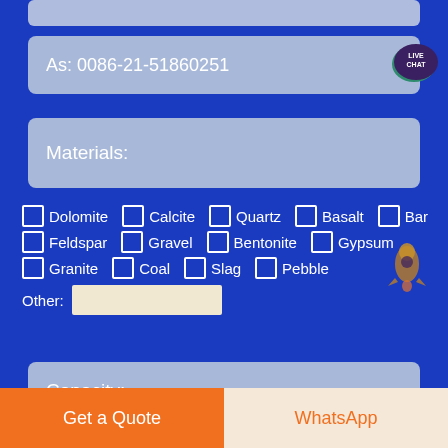As: 0086-21-51860251
Materials:
Dolomite
Calcite
Quartz
Basalt
Bar
Feldspar
Gravel
Bentonite
Gypsum
Granite
Coal
Slag
Pebble
Other:
Capacity:
Get a Quote
WhatsApp